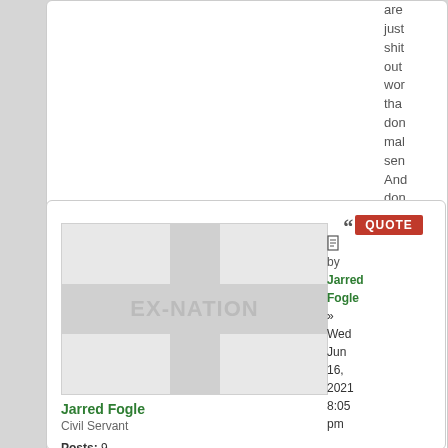are just shit out wor that don mal sen And don get me star on Fo-
[Figure (illustration): Forum post avatar showing EX-NATION watermark logo with cross pattern on grey background]
Jarred Fogle
Civil Servant

Posts: 9
Founded: Mar 04, 2021
Ex-Nation
QUOTE
by Jarred Fogle
»
Wed Jun 16, 2021 8:05 pm